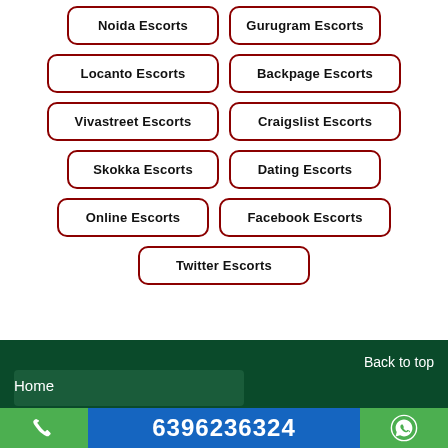Noida Escorts
Gurugram Escorts
Locanto Escorts
Backpage Escorts
Vivastreet Escorts
Craigslist Escorts
Skokka Escorts
Dating Escorts
Online Escorts
Facebook Escorts
Twitter Escorts
Back to top
Home
6396236324